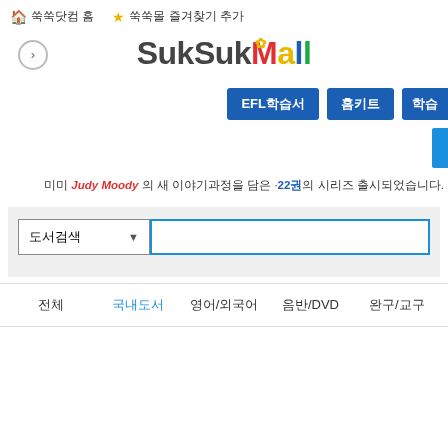쑥쑥닷컴 홈   쑥쑥몰 즐겨찾기 추가
[Figure (logo): SukSuk Mall logo with colorful letters and flower icon]
[Figure (screenshot): Navigation buttons: EFL학습서, 홈키트, 학습 (partially visible blue buttons)]
미미 Judy Moody 의 새 이야기과정을 담은 22권 시리즈 출시되었습니다.
[Figure (screenshot): Search area with dropdown (도서검색) and text input field]
[Figure (screenshot): Bottom navigation: 전체 | 국내도서 | 영어/외국어 | 음반/DVD | 완구/교구]